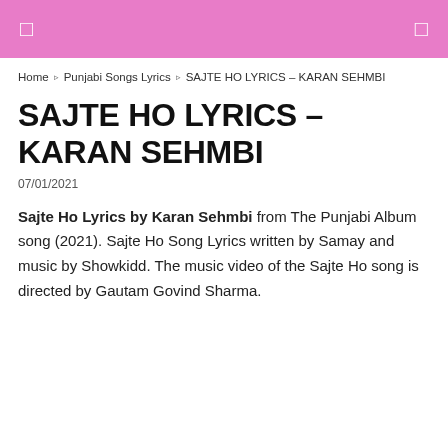☰  ☰
Home › Punjabi Songs Lyrics › SAJTE HO LYRICS – KARAN SEHMBI
SAJTE HO LYRICS – KARAN SEHMBI
07/01/2021
Sajte Ho Lyrics by Karan Sehmbi from The Punjabi Album song (2021). Sajte Ho Song Lyrics written by Samay and music by Showkidd. The music video of the Sajte Ho song is directed by Gautam Govind Sharma.